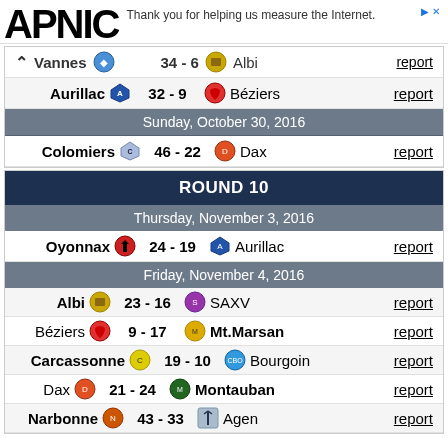[Figure (logo): APNIC logo with ad text: Thank you for helping us measure the Internet.]
| Vannes | 34 - 6 | Albi | report |
| Aurillac | 32 - 9 | Béziers | report |
| Sunday, October 30, 2016 |  |  |  |
| Colomiers | 46 - 22 | Dax | report |
ROUND 10
| Thursday, November 3, 2016 |  |  |  |
| Oyonnax | 24 - 19 | Aurillac | report |
| Friday, November 4, 2016 |  |  |  |
| Albi | 23 - 16 | SAXV | report |
| Béziers | 9 - 17 | Mt.Marsan | report |
| Carcassonne | 19 - 10 | Bourgoin | report |
| Dax | 21 - 24 | Montauban | report |
| Narbonne | 43 - 33 | Agen | report |